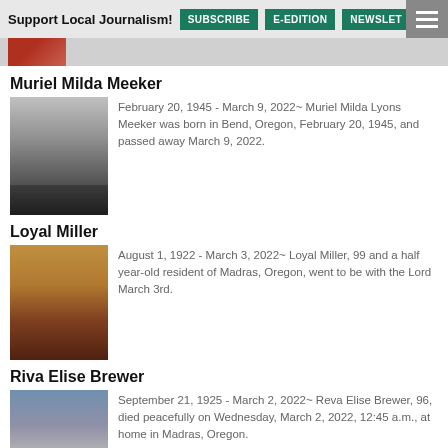Support Local Journalism! | SUBSCRIBE | E-EDITION | NEWSLET
Muriel Milda Meeker
February 20, 1945 - March 9, 2022~ Muriel Milda Lyons Meeker was born in Bend, Oregon, February 20, 1945, and passed away March 9, 2022.
Loyal Miller
August 1, 1922 - March 3, 2022~ Loyal Miller, 99 and a half year-old resident of Madras, Oregon, went to be with the Lord March 3rd.
Riva Elise Brewer
September 21, 1925 - March 2, 2022~ Reva Elise Brewer, 96, died peacefully on Wednesday, March 2, 2022, 12:45 a.m., at home in Madras, Oregon.
Cinda Louise Nicolaes
Go to top